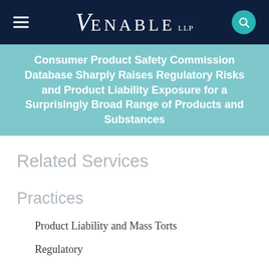VENABLE LLP
Consumer Product Safety Commission Database Sharply Raises Regulatory Risks and Product Liability Exposure for a Surprisingly Broad Range of Products and Substances
Related Services
Practices
Product Liability and Mass Torts
Regulatory